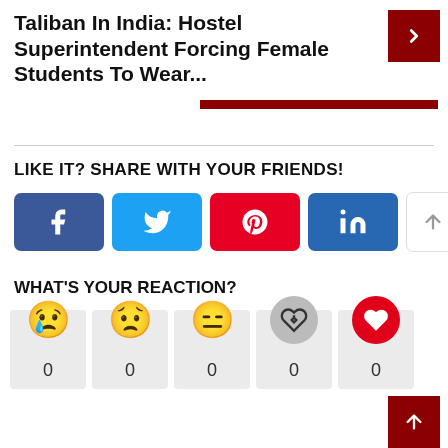Taliban In India: Hostel Superintendent Forcing Female Students To Wear...
LIKE IT? SHARE WITH YOUR FRIENDS!
[Figure (infographic): Social sharing buttons: Facebook, Twitter, Pinterest, LinkedIn, Up arrow, Down arrow]
WHAT'S YOUR REACTION?
[Figure (infographic): Reaction emojis with counts: Crying (0), Confused (0), Meh (0), Broken heart (0), Love (0)]